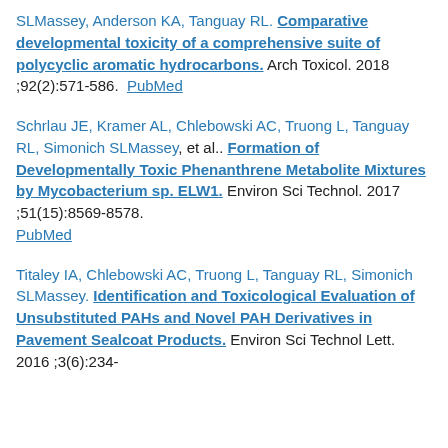SLMassey, Anderson KA, Tanguay RL. Comparative developmental toxicity of a comprehensive suite of polycyclic aromatic hydrocarbons. Arch Toxicol. 2018 ;92(2):571-586. PubMed
Schrlau JE, Kramer AL, Chlebowski AC, Truong L, Tanguay RL, Simonich SLMassey, et al.. Formation of Developmentally Toxic Phenanthrene Metabolite Mixtures by Mycobacterium sp. ELW1. Environ Sci Technol. 2017 ;51(15):8569-8578. PubMed
Titaley IA, Chlebowski AC, Truong L, Tanguay RL, Simonich SLMassey. Identification and Toxicological Evaluation of Unsubstituted PAHs and Novel PAH Derivatives in Pavement Sealcoat Products. Environ Sci Technol Lett. 2016 ;3(6):234-